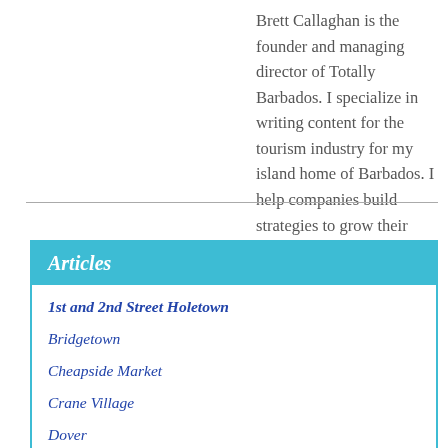Brett Callaghan is the founder and managing director of Totally Barbados. I specialize in writing content for the tourism industry for my island home of Barbados. I help companies build strategies to grow their businesses online with SMART marketing, advertising, and social media goals.
Articles
1st and 2nd Street Holetown
Bridgetown
Cheapside Market
Crane Village
Dover